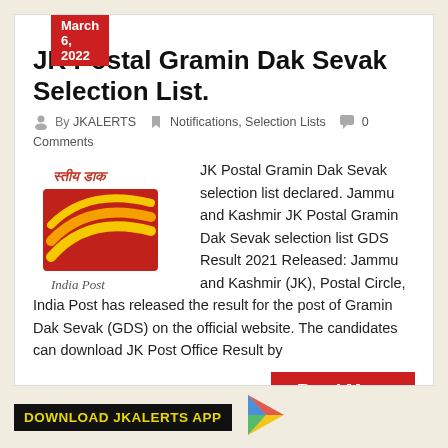March 6, 2022
JK Postal Gramin Dak Sevak Selection List.
By JKALERTS  Notifications, Selection Lists  0 Comments
[Figure (logo): India Post logo: red envelope with yellow swoosh lines, text 'India Post' below, Hindi text above]
JK Postal Gramin Dak Sevak selection list declared. Jammu and Kashmir JK Postal Gramin Dak Sevak selection list GDS Result 2021 Released: Jammu and Kashmir (JK), Postal Circle, India Post has released the result for the post of Gramin Dak Sevak (GDS) on the official website. The candidates can download JK Post Office Result by
Read More
DOWNLOAD JKALERTS APP